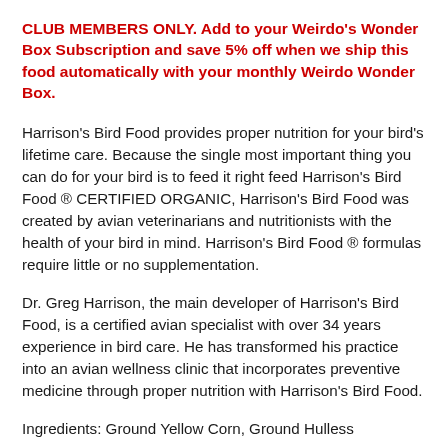CLUB MEMBERS ONLY. Add to your Weirdo's Wonder Box Subscription and save 5% off when we ship this food automatically with your monthly Weirdo Wonder Box.
Harrison's Bird Food provides proper nutrition for your bird's lifetime care. Because the single most important thing you can do for your bird is to feed it right feed Harrison's Bird Food ® CERTIFIED ORGANIC, Harrison's Bird Food was created by avian veterinarians and nutritionists with the health of your bird in mind. Harrison's Bird Food ® formulas require little or no supplementation.
Dr. Greg Harrison, the main developer of Harrison's Bird Food, is a certified avian specialist with over 34 years experience in bird care. He has transformed his practice into an avian wellness clinic that incorporates preventive medicine through proper nutrition with Harrison's Bird Food.
Ingredients: Ground Yellow Corn, Ground Hulless